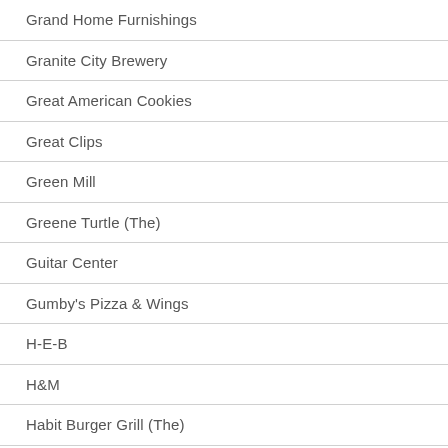Grand Home Furnishings
Granite City Brewery
Great American Cookies
Great Clips
Green Mill
Greene Turtle (The)
Guitar Center
Gumby's Pizza & Wings
H-E-B
H&M
Habit Burger Grill (The)
Haggen Food & Pharmacy
Half Price Books
Hallmark Golden Crown